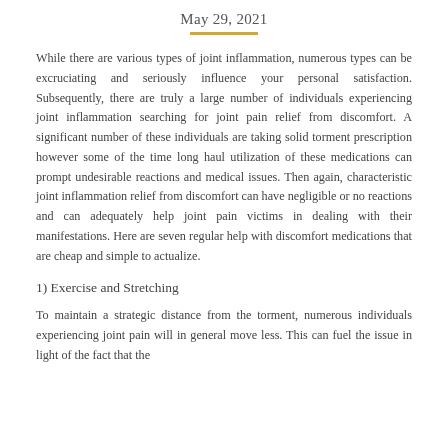May 29, 2021
While there are various types of joint inflammation, numerous types can be excruciating and seriously influence your personal satisfaction. Subsequently, there are truly a large number of individuals experiencing joint inflammation searching for joint pain relief from discomfort. A significant number of these individuals are taking solid torment prescription however some of the time long haul utilization of these medications can prompt undesirable reactions and medical issues. Then again, characteristic joint inflammation relief from discomfort can have negligible or no reactions and can adequately help joint pain victims in dealing with their manifestations. Here are seven regular help with discomfort medications that are cheap and simple to actualize.
1) Exercise and Stretching
To maintain a strategic distance from the torment, numerous individuals experiencing joint pain will in general move less. This can fuel the issue in light of the fact that the